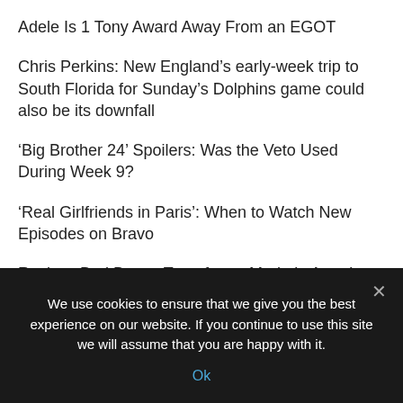Adele Is 1 Tony Award Away From an EGOT
Chris Perkins: New England’s early-week trip to South Florida for Sunday’s Dolphins game could also be its downfall
‘Big Brother 24’ Spoilers: Was the Veto Used During Week 9?
‘Real Girlfriends in Paris’: When to Watch New Episodes on Bravo
Review: Bad Bunny Transforms Made in America Music Festival Into a Beach Party in Puerto Rico
Chinook from caught by a kayak angler out of
We use cookies to ensure that we give you the best experience on our website. If you continue to use this site we will assume that you are happy with it.
Ok